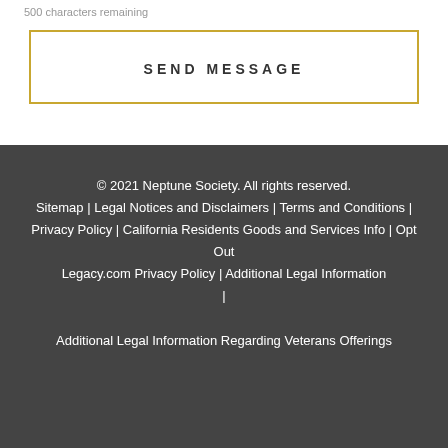500 characters remaining
SEND MESSAGE
© 2021 Neptune Society. All rights reserved.
Sitemap | Legal Notices and Disclaimers | Terms and Conditions | Privacy Policy | California Residents Goods and Services Info | Opt Out
Legacy.com Privacy Policy | Additional Legal Information |
Additional Legal Information Regarding Veterans Offerings